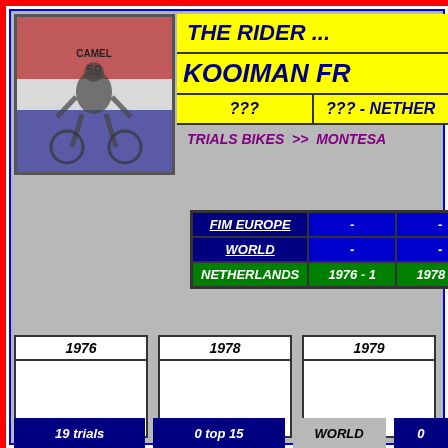THE RIDER ...
KOOIMAN FR
??? | ??? - NETHER
TRIALS BIKES >> MONTESA
|  |  |  |  |
| --- | --- | --- | --- |
| FIM EUROPE | - | - |  |
| WORLD | - | - |  |
| NETHERLANDS | 1976 - 1 | 1978 - 1 |  |
1976
1978
1979
19 trials
0 top 15
WORLD
0